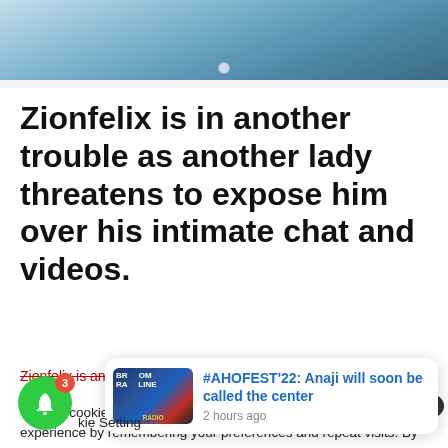[Figure (photo): Cropped photo of a person wearing a light blue denim shirt, visible from chest/collar upward, against an indoor background]
Zionfelix is in another trouble as another lady threatens to expose him over his intimate chat and videos.
Zionfelix is an Award-winning lifestyle and entertainment
We use cookies on our website to give you the most relevant experience by remembering your preferences and repeat visits. By clicking "ACCEPT ALL", you consent to the use of ALL the cookies. However, you may visit "Cookie Settings" to pro
#AHOFEST'22: Anaji will soon be called the center
2 hours ago